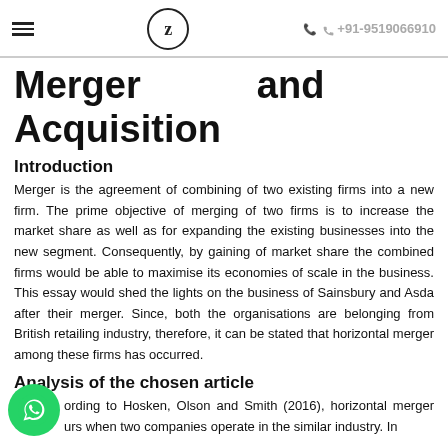≡  Z  +91-9519066910
Merger and Acquisition
Introduction
Merger is the agreement of combining of two existing firms into a new firm. The prime objective of merging of two firms is to increase the market share as well as for expanding the existing businesses into the new segment. Consequently, by gaining of market share the combined firms would be able to maximise its economies of scale in the business. This essay would shed the lights on the business of Sainsbury and Asda after their merger. Since, both the organisations are belonging from British retailing industry, therefore, it can be stated that horizontal merger among these firms has occurred.
Analysis of the chosen article
According to Hosken, Olson and Smith (2016), horizontal merger occurs when two companies operate in the similar industry. In